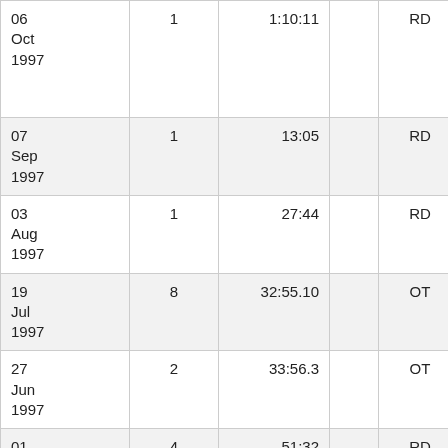| Date | # | Time |  | Type | Distance | Name |
| --- | --- | --- | --- | --- | --- | --- |
| 06 Oct 1997 | 1 | 1:10:11 |  | RD | Half Mara | ... |
| 07 Sep 1997 | 1 | 13:05 |  | RD | 4 km | C... |
| 03 Aug 1997 | 1 | 27:44 |  | RD | 5 mi | M... |
| 19 Jul 1997 | 8 | 32:55.10 |  | OT | 10 km | H... |
| 27 Jun 1997 | 2 | 33:56.3 |  | OT | 10 km | M... |
| 01 May 1997 | 4 | 51:32 |  | RD | 15 km | L... |